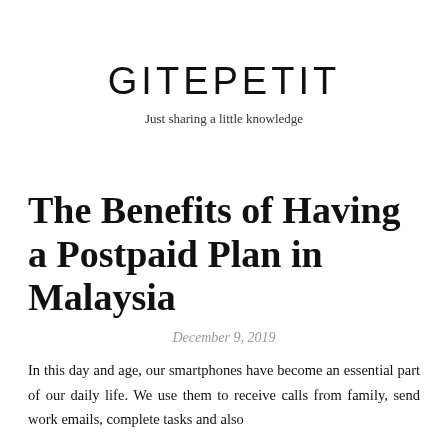GITEPETIT
Just sharing a little knowledge
The Benefits of Having a Postpaid Plan in Malaysia
December 9, 2019
In this day and age, our smartphones have become an essential part of our daily life. We use them to receive calls from family, send work emails, complete tasks and also